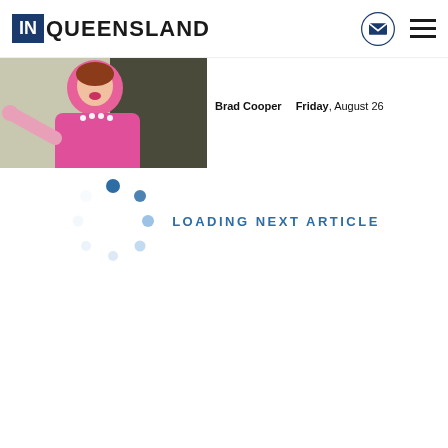IN QUEENSLAND
[Figure (photo): Woman in pink jacket pointing, partial view at top of page]
Brad Cooper   Friday, August 26
[Figure (infographic): Loading spinner dots with text LOADING NEXT ARTICLE]